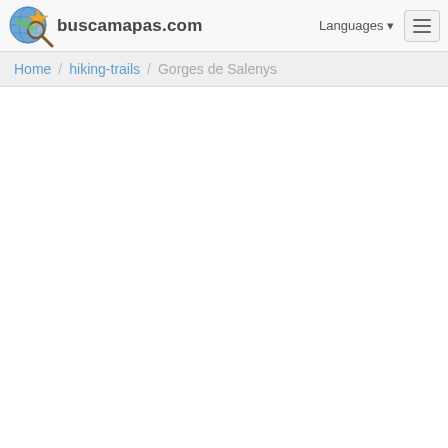buscamapas.com  Languages  [hamburger menu]
Home / hiking-trails / Gorges de Salenys